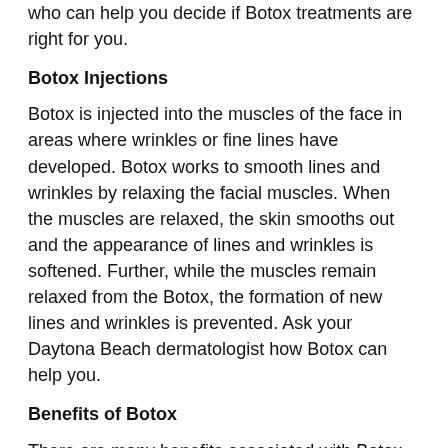who can help you decide if Botox treatments are right for you.
Botox Injections
Botox is injected into the muscles of the face in areas where wrinkles or fine lines have developed. Botox works to smooth lines and wrinkles by relaxing the facial muscles. When the muscles are relaxed, the skin smooths out and the appearance of lines and wrinkles is softened. Further, while the muscles remain relaxed from the Botox, the formation of new lines and wrinkles is prevented. Ask your Daytona Beach dermatologist how Botox can help you.
Benefits of Botox
There are many benefits associated with Botox injections. In addition to being non-invasive and having no recovery time. The effects of Botox are noticeable within seven days after treatment. In addition to diminishing the appearance of fine lines and wrinkles, Botox treatments can also